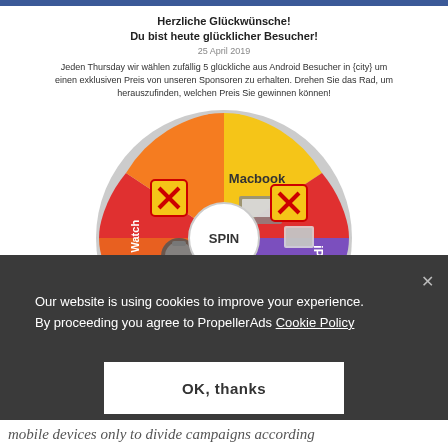Herzliche Glückwünsche!
Du bist heute glücklicher Besucher!
25 April 2019
Jeden Thursday wir wählen zufällig 5 glückliche aus Android Besucher in {city} um einen exklusiven Preis von unseren Sponsoren zu erhalten. Drehen Sie das Rad, um herauszufinden, welchen Preis Sie gewinnen können!
[Figure (infographic): A colorful prize spin wheel with segments labeled Macbook, iPad, Apple Watch, and X (lose) markers. The center shows a white circle with 'SPIN' text.]
Our website is using cookies to improve your experience.
By proceeding you agree to PropellerAds Cookie Policy
OK, thanks
mobile devices only to divide campaigns according